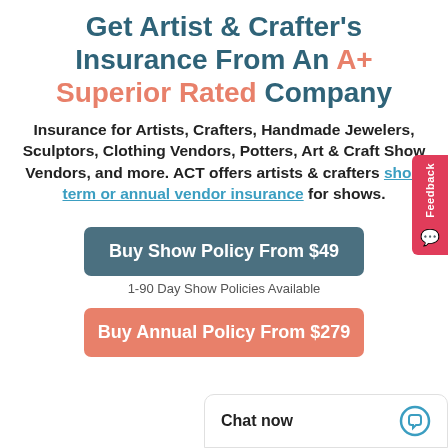Get Artist & Crafter's Insurance From An A+ Superior Rated Company
Insurance for Artists, Crafters, Handmade Jewelers, Sculptors, Clothing Vendors, Potters, Art & Craft Show Vendors, and more. ACT offers artists & crafters short term or annual vendor insurance for shows.
Buy Show Policy From $49
1-90 Day Show Policies Available
Buy Annual Policy From $279
Chat now